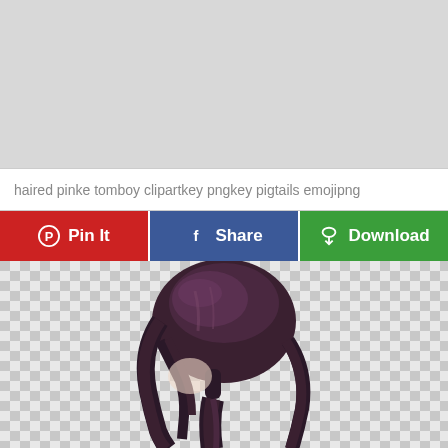[Figure (illustration): Gray placeholder image area at the top of the page]
haired pinke tomboy clipartkey pngkey pigtails emojipng
Pin It | Share | Download
[Figure (illustration): Anime-style dark brown pigtail hair illustration on transparent checkerboard background]